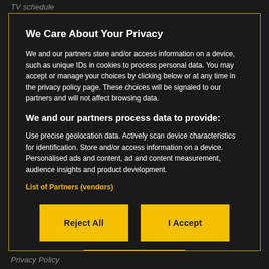TV schedule
We Care About Your Privacy
We and our partners store and/or access information on a device, such as unique IDs in cookies to process personal data. You may accept or manage your choices by clicking below or at any time in the privacy policy page. These choices will be signaled to our partners and will not affect browsing data.
We and our partners process data to provide:
Use precise geolocation data. Actively scan device characteristics for identification. Store and/or access information on a device. Personalised ads and content, ad and content measurement, audience insights and product development.
List of Partners (vendors)
Reject All
I Accept
Show Purposes
Privacy Policy